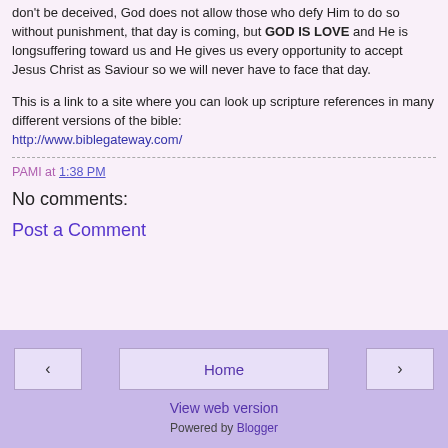don't be deceived, God does not allow those who defy Him to do so without punishment, that day is coming, but GOD IS LOVE and He is longsuffering toward us and He gives us every opportunity to accept Jesus Christ as Saviour so we will never have to face that day.
This is a link to a site where you can look up scripture references in many different versions of the bible:
http://www.biblegateway.com/
PAMI at 1:38 PM
No comments:
Post a Comment
◄  Home  ►
View web version
Powered by Blogger